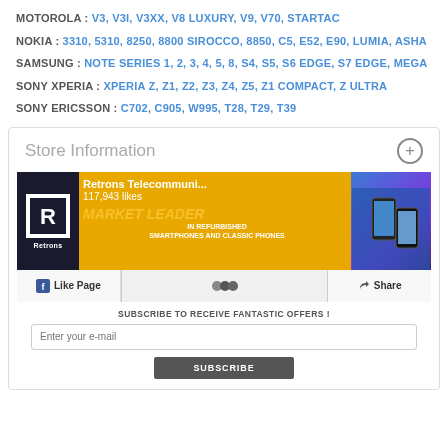MOTOROLA : V3, V3I, V3XX, V8 LUXURY, V9, V70, STARTAC
NOKIA : 3310, 5310, 8250, 8800 SIROCCO, 8850, C5, E52, E90, LUMIA, ASHA
SAMSUNG : NOTE SERIES 1, 2, 3, 4, 5, 8, S4, S5, S6 EDGE, S7 EDGE, MEGA
SONY XPERIA : XPERIA Z, Z1, Z2, Z3, Z4, Z5, Z1 COMPACT, Z ULTRA
SONY ERICSSON : C702, C905, W995, T28, T29, T39
Store Information
[Figure (screenshot): Facebook page banner for Retrons Telecommunications showing 117,943 likes, MARKET LEADER IN REFURBISHED SMARTPHONES AND CLASSIC PHONES, with Like Page and Share buttons]
SUBSCRIBE TO RECEIVE FANTASTIC OFFERS !
Enter your e-mail
SUBSCRIBE